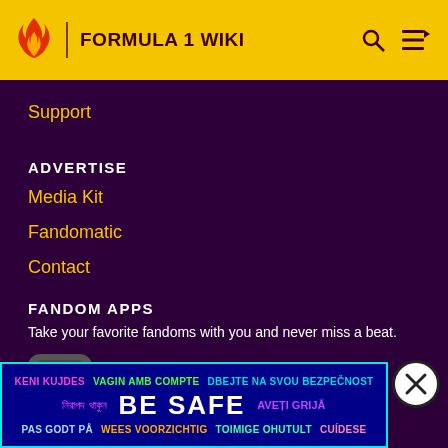FORMULA 1 WIKI
Support
ADVERTISE
Media Kit
Fandomatic
Contact
FANDOM APPS
Take your favorite fandoms with you and never miss a beat.
[Figure (screenshot): Fandom app icon (red and yellow logo) and app store download buttons for Apple App Store and Google Play]
[Figure (infographic): Safety ad banner with multilingual 'BE SAFE' text in various colors including pink, green, cyan, yellow on dark blue background]